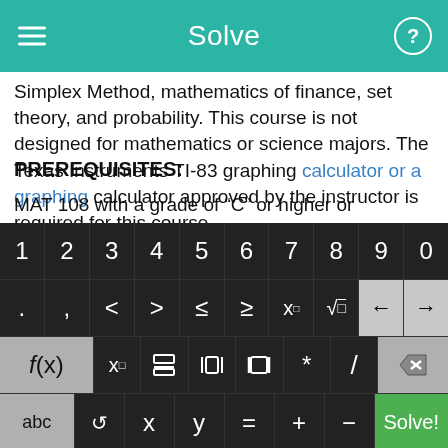Solve
Simplex Method, mathematics of finance, set theory, and probability. This course is not designed for mathematics or science majors. The Texas Instruments TI-83 graphing calculator or a graphing calculator approved by the instructor is required for this course.
PREREQUISITES:
MAT 108 with a grade of “C” or higher or assessment
[Figure (screenshot): On-screen math keyboard with digits 0-9, math symbols (<, >, ≤, ≥, x^□, √), function keys f(x), x subscript, fraction, absolute value, parentheses, *, /, backspace, abc, undo, x, y, =, +, -, and a green Solve! button.]